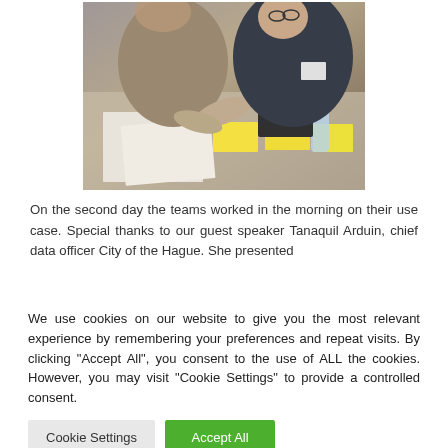[Figure (photo): People working at a table during a workshop, with papers and yellow sticky notes spread on the table. Two individuals are visible leaning over documents.]
On the second day the teams worked in the morning on their use case. Special thanks to our guest speaker Tanaquil Arduin, chief data officer City of the Hague. She presented
We use cookies on our website to give you the most relevant experience by remembering your preferences and repeat visits. By clicking "Accept All", you consent to the use of ALL the cookies. However, you may visit "Cookie Settings" to provide a controlled consent.